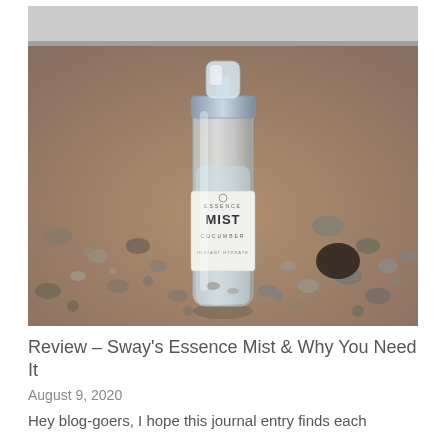[Figure (photo): A clear spray bottle labeled 'Essence Mist Cucumber Instant Hydrate' with a silver pump cap, standing upright on sandy, pebbly beach ground. The bottle is transparent showing the liquid inside.]
Review – Sway's Essence Mist & Why You Need It
August 9, 2020
Hey blog-goers, I hope this journal entry finds each